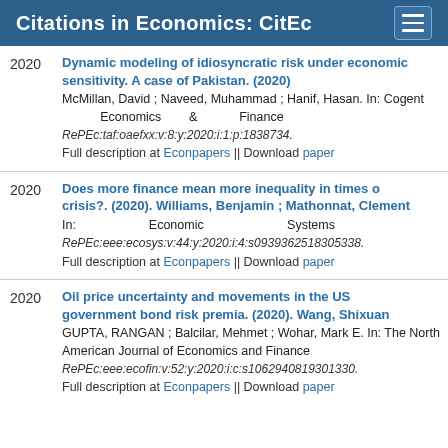Citations in Economics: CitEc
2020 Dynamic modeling of idiosyncratic risk under economic sensitivity. A case of Pakistan. (2020). McMillan, David ; Naveed, Muhammad ; Hanif, Hasan. In: Cogent Economics & Finance. RePEc:taf:oaefxx:v:8:y:2020:i:1:p:1838734. Full description at Econpapers || Download paper
2020 Does more finance mean more inequality in times of crisis?. (2020). Williams, Benjamin ; Mathonnat, Clement. In: Economic Systems. RePEc:eee:ecosys:v:44:y:2020:i:4:s0939362518305338. Full description at Econpapers || Download paper
2020 Oil price uncertainty and movements in the US government bond risk premia. (2020). Wang, Shixuan ; GUPTA, RANGAN ; Balcilar, Mehmet ; Wohar, Mark E. In: The North American Journal of Economics and Finance. RePEc:eee:ecofin:v:52:y:2020:i:c:s1062940819301330. Full description at Econpapers || Download paper